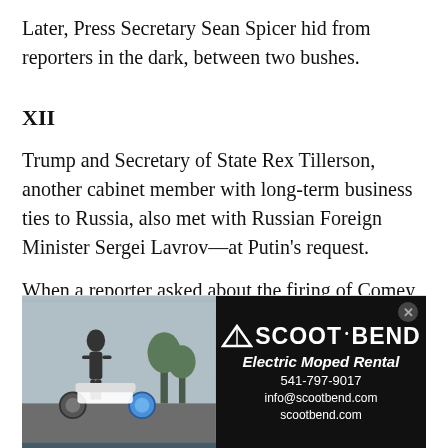Later, Press Secretary Sean Spicer hid from reporters in the dark, between two bushes.
XII
Trump and Secretary of State Rex Tillerson, another cabinet member with long-term business ties to Russia, also met with Russian Foreign Minister Sergei Lavrov—at Putin's request.
When a reporter asked about the firing of Comey, Lavrov laughed.
"Was he fired? You're kidding," Lavrov said sarcastically as Tillerson stood by. Then the two men left the room without answering any further questions.
[Figure (photo): Advertisement for Scoot Bend Electric Moped Rental showing mopeds with person, alongside black panel with company name, phone 541-797-9017, info@scootbend.com, scootbend.com]